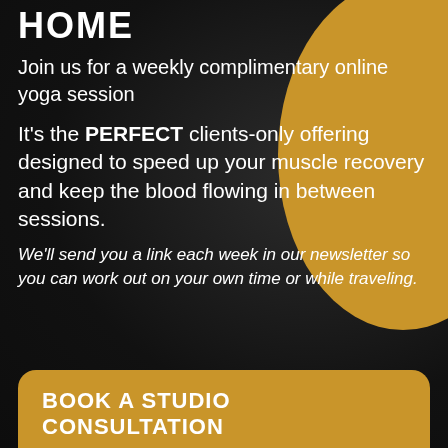HOME
Join us for a weekly complimentary online yoga session
It's the PERFECT clients-only offering designed to speed up your muscle recovery and keep the blood flowing in between sessions.
We'll send you a link each week in our newsletter so you can work out on your own time or while traveling.
BOOK A STUDIO CONSULTATION